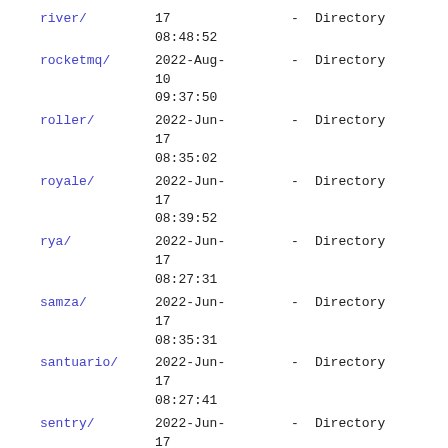| Name | Date |  | Type |
| --- | --- | --- | --- |
| river/ | 17
08:48:52 | - | Directory |
| rocketmq/ | 2022-Aug-
10
09:37:50 | - | Directory |
| roller/ | 2022-Jun-
17
08:35:02 | - | Directory |
| royale/ | 2022-Jun-
17
08:39:52 | - | Directory |
| rya/ | 2022-Jun-
17
08:27:31 | - | Directory |
| samza/ | 2022-Jun-
17
08:35:31 | - | Directory |
| santuario/ | 2022-Jun-
17
08:27:41 | - | Directory |
| sentry/ | 2022-Jun-
17
08:54:00 | - | Directory |
| serf/ | 2022-Jun-
17
08:55:50 | - | Directory |
| servicecomb/ | 2022-Aug-
08
05:17:18 | - | Directory |
| servicemix/ | 2022-Jun-
17
08:39:39 | - | Directory |